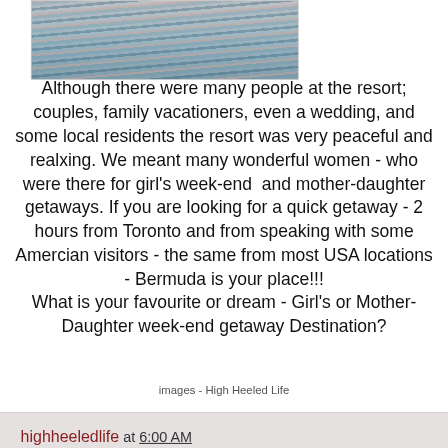[Figure (photo): Photograph of water reflections with pink and blue tones, appearing to be a harbor or marina at dusk]
Although there were many people at the resort; couples, family vacationers, even a wedding, and some local residents the resort was very peaceful and realxing. We meant many wonderful women - who were there for girl's week-end  and mother-daughter getaways. If you are looking for a quick getaway - 2 hours from Toronto and from speaking with some Amercian visitors - the same from most USA locations - Bermuda is your place!!!
What is your favourite or dream - Girl's or Mother-Daughter week-end getaway Destination?
images - High Heeled Life
highheeledlife at 6:00 AM